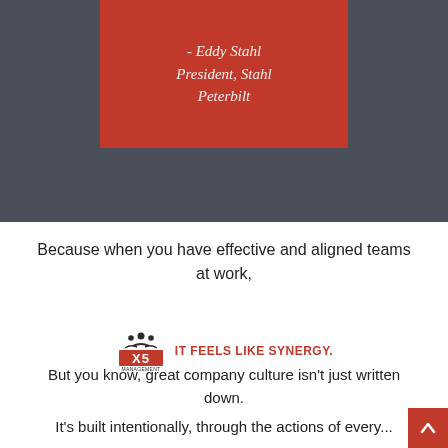- Eddy Stahl
President, Stahl Peterbilt
Because when you have effective and aligned teams at work,
[Figure (logo): X5 Management logo with stylized people icon above X5 text and MANAGEMENT below]
IT FEELS LIKE SYNERGY.
But you know, great company culture isn't just written down.
It's built intentionally, through the actions of every...